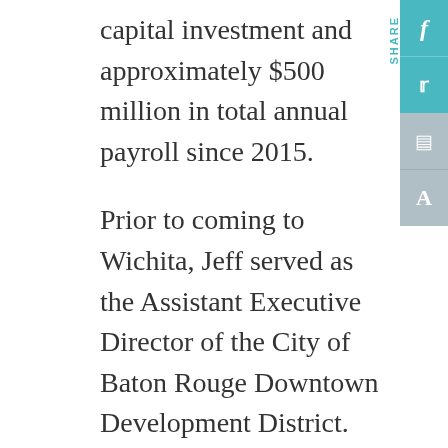capital investment and approximately $500 million in total annual payroll since 2015.
Prior to coming to Wichita, Jeff served as the Assistant Executive Director of the City of Baton Rouge Downtown Development District. Jeff holds a bachelor's degree in landscape architecture from the University of Kentucky and a master's degree in landscape architecture from Louisiana State University, with an emphasis on urban planning and business.
Jeff is actively involved in the